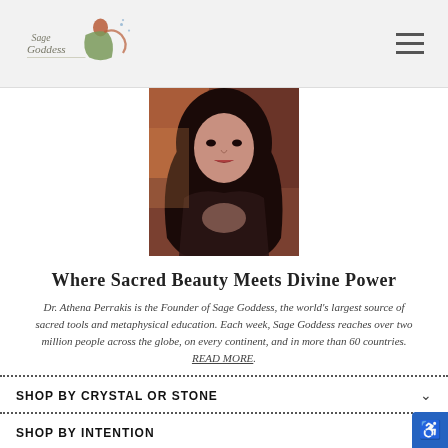Sage Goddess
[Figure (photo): Portrait photo of Dr. Athena Perrakis with long dark hair, wearing dark clothing, in a warm-toned background]
Where Sacred Beauty Meets Divine Power
Dr. Athena Perrakis is the Founder of Sage Goddess, the world's largest source of sacred tools and metaphysical education. Each week, Sage Goddess reaches over two million people across the globe, on every continent, and in more than 60 countries. READ MORE.
SHOP BY CRYSTAL OR STONE
SHOP BY INTENTION